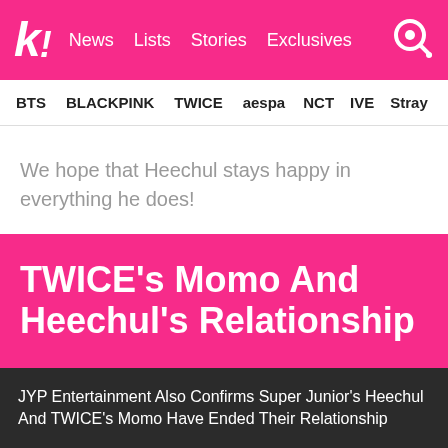K! News Lists Stories Exclusives
BTS BLACKPINK TWICE aespa NCT IVE Stray
We hope that Heechul stays happy in everything he does!
TWICE's Momo And Heechul's Relationship
JYP Entertainment Also Confirms Super Junior's Heechul And TWICE's Momo Have Ended Their Relationship